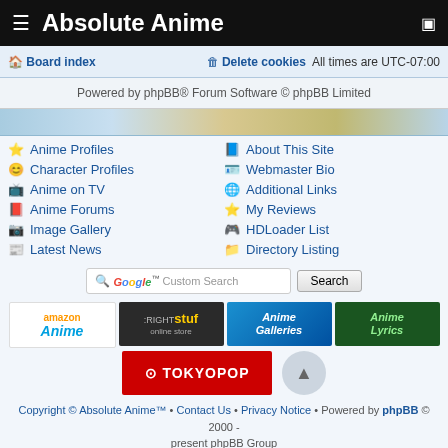Absolute Anime
Board index | Delete cookies | All times are UTC-07:00
Powered by phpBB® Forum Software © phpBB Limited
Anime Profiles
Character Profiles
Anime on TV
Anime Forums
Image Gallery
Latest News
About This Site
Webmaster Bio
Additional Links
My Reviews
HDLoader List
Directory Listing
[Figure (screenshot): Google Custom Search bar with Search button]
[Figure (screenshot): Ad banners: amazon Anime, RightStuf online store, Anime Galleries, Anime Lyrics, TOKYOPOP]
Copyright © Absolute Anime™ • Contact Us • Privacy Notice • Powered by phpBB © 2000 - present phpBB Group